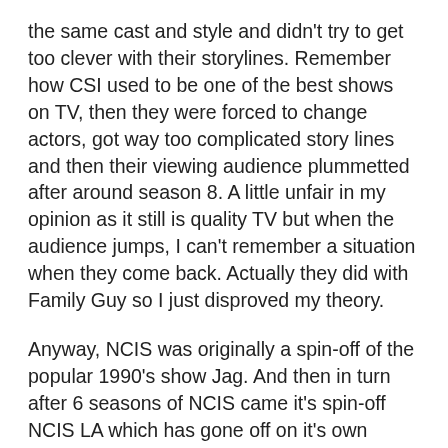the same cast and style and didn't try to get too clever with their storylines. Remember how CSI used to be one of the best shows on TV, then they were forced to change actors, got way too complicated story lines and then their viewing audience plummetted after around season 8. A little unfair in my opinion as it still is quality TV but when the audience jumps, I can't remember a situation when they come back. Actually they did with Family Guy so I just disproved my theory.
Anyway, NCIS was originally a spin-off of the popular 1990's show Jag. And then in turn after 6 seasons of NCIS came it's spin-off NCIS LA which has gone off on it's own tangent. The first season of NCIS LA was of a similar format to NCIS but has since grown into it's own beast. It has become hugely popular. Largely due to it's popular 2 main leading men of Chris O'Donnell and LL Cool J. Personally, I'm still getting over LL Cool J being a serious actor but I guess if Ice T can do it successfully in Law & Order SVU for so long who am I to